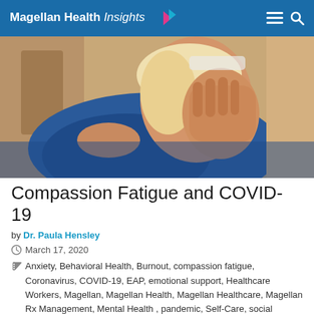Magellan Health Insights
[Figure (photo): A blonde female healthcare worker in blue scrubs covering her face with one hand, appearing distressed or fatigued, with another person's hand on her shoulder]
Compassion Fatigue and COVID-19
by Dr. Paula Hensley
March 17, 2020
Anxiety, Behavioral Health, Burnout, compassion fatigue, Coronavirus, COVID-19, EAP, emotional support, Healthcare Workers, Magellan, Magellan Health, Magellan Healthcare, Magellan Rx Management, Mental Health, pandemic, Self-Care, social support